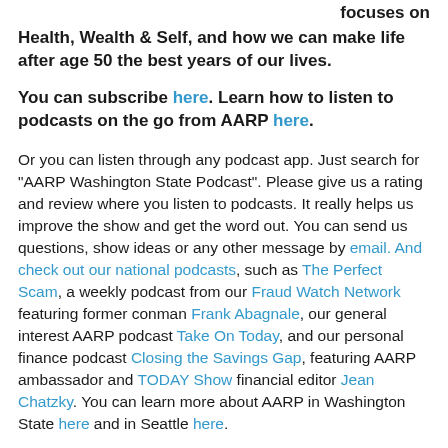focuses on Health, Wealth & Self, and how we can make life after age 50 the best years of our lives.
You can subscribe here. Learn how to listen to podcasts on the go from AARP here.
Or you can listen through any podcast app. Just search for "AARP Washington State Podcast". Please give us a rating and review where you listen to podcasts. It really helps us improve the show and get the word out. You can send us questions, show ideas or any other message by email. And check out our national podcasts, such as The Perfect Scam, a weekly podcast from our Fraud Watch Network featuring former conman Frank Abagnale, our general interest AARP podcast Take On Today, and our personal finance podcast Closing the Savings Gap, featuring AARP ambassador and TODAY Show financial editor Jean Chatzky. You can learn more about AARP in Washington State here and in Seattle here.